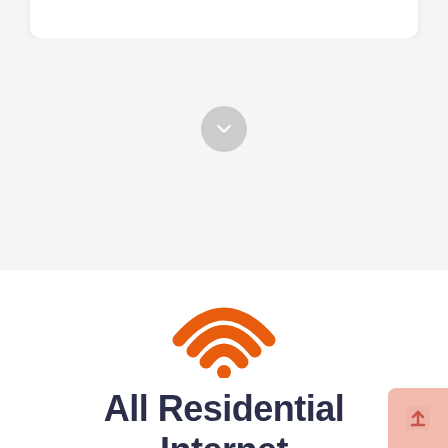[Figure (illustration): Gray circular scroll-down button with a downward arrow icon, centered in the upper light gray section of the page]
[Figure (illustration): Orange WiFi signal icon with three arcs and a dot, centered above the title text]
All Residential Internet Providers in Faribault